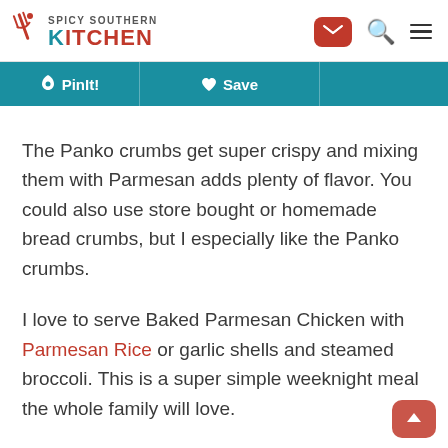Spicy Southern Kitchen
PinIt! Save
The Panko crumbs get super crispy and mixing them with Parmesan adds plenty of flavor. You could also use store bought or homemade bread crumbs, but I especially like the Panko crumbs.
I love to serve Baked Parmesan Chicken with Parmesan Rice or garlic shells and steamed broccoli. This is a super simple weeknight meal the whole family will love.